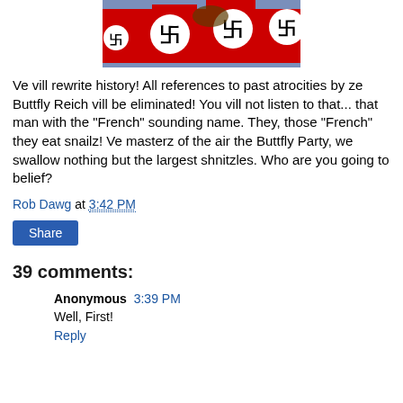[Figure (photo): Image of red flags with swastika symbols against a cloudy sky background]
Ve vill rewrite history! All references to past atrocities by ze Buttfly Reich vill be eliminated! You vill not listen to that... that man with the "French" sounding name. They, those "French" they eat snailz! Ve masterz of the air the Buttfly Party, we swallow nothing but the largest shnitzles. Who are you going to belief?
Rob Dawg at 3:42 PM
Share
39 comments:
Anonymous 3:39 PM
Well, First!
Reply